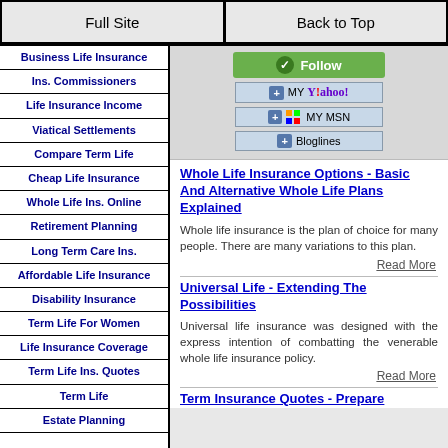Full Site | Back to Top
Business Life Insurance
Ins. Commissioners
Life Insurance Income
Viatical Settlements
Compare Term Life
Cheap Life Insurance
Whole Life Ins. Online
Retirement Planning
Long Term Care Ins.
Affordable Life Insurance
Disability Insurance
Term Life For Women
Life Insurance Coverage
Term Life Ins. Quotes
Term Life
Estate Planning
[Figure (screenshot): Social follow buttons: Follow (green), MY YAHOO!, MY MSN, Bloglines]
Whole Life Insurance Options - Basic And Alternative Whole Life Plans Explained
Whole life insurance is the plan of choice for many people. There are many variations to this plan.
Read More
Universal Life - Extending The Possibilities
Universal life insurance was designed with the express intention of combatting the venerable whole life insurance policy.
Read More
Term Insurance Quotes - Prepare